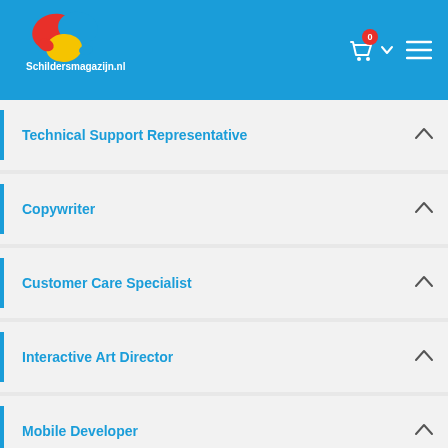[Figure (logo): Schildersmagazijn.nl logo with colorful paint splashes]
Technical Support Representative
Copywriter
Customer Care Specialist
Interactive Art Director
Mobile Developer
Technical Support Representative
Copywriter